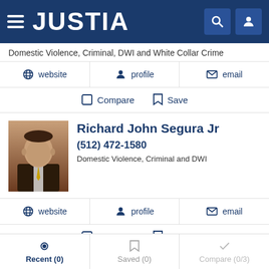JUSTIA
Domestic Violence, Criminal, DWI and White Collar Crime
website  profile  email
Compare  Save
Richard John Segura Jr
(512) 472-1580
Domestic Violence, Criminal and DWI
website  profile  email
Compare  Save
Alejandro Martinez
Recent (0)  Saved (0)  Compare (0/3)